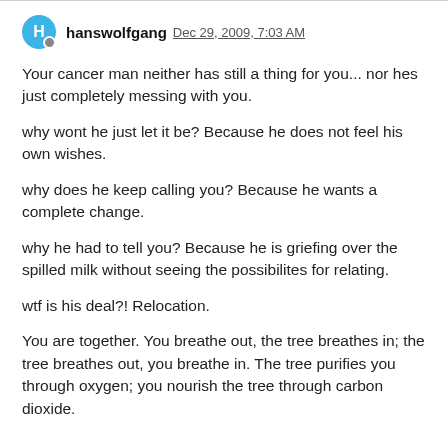hanswolfgang Dec 29, 2009, 7:03 AM
Your cancer man neither has still a thing for you... nor hes just completely messing with you.
why wont he just let it be? Because he does not feel his own wishes.
why does he keep calling you? Because he wants a complete change.
why he had to tell you? Because he is griefing over the spilled milk without seeing the possibilites for relating.
wtf is his deal?! Relocation.
You are together. You breathe out, the tree breathes in; the tree breathes out, you breathe in. The tree purifies you through oxygen; you nourish the tree through carbon dioxide.